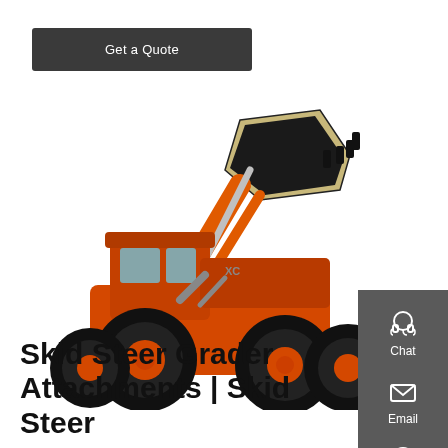Get a Quote
[Figure (photo): Orange front-end wheel loader (skid steer) with bucket raised, shown on white background]
Skid Steer Grader Attachments | Skid Steer
[Figure (illustration): Right sidebar with Chat (headset icon), Email (envelope icon), and Contact (speech bubble icon) buttons on dark grey background]
Chat
Email
Contact